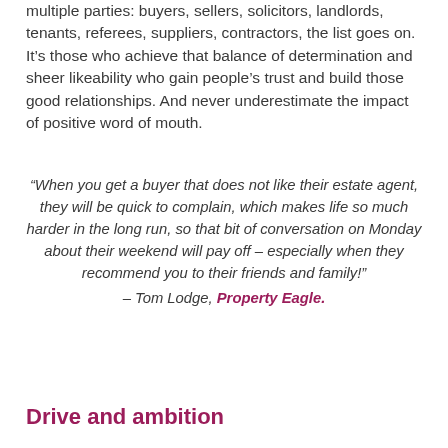multiple parties: buyers, sellers, solicitors, landlords, tenants, referees, suppliers, contractors, the list goes on. It’s those who achieve that balance of determination and sheer likeability who gain people’s trust and build those good relationships. And never underestimate the impact of positive word of mouth.
“When you get a buyer that does not like their estate agent, they will be quick to complain, which makes life so much harder in the long run, so that bit of conversation on Monday about their weekend will pay off – especially when they recommend you to their friends and family!” – Tom Lodge, Property Eagle.
Drive and ambition